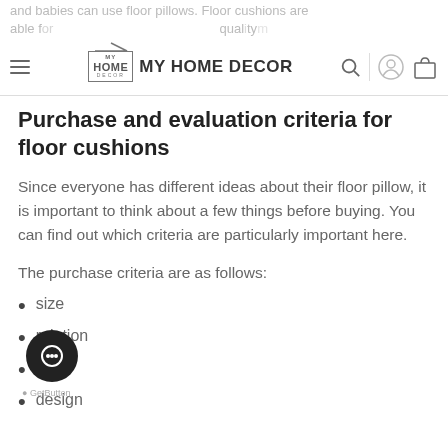and babies can use floor pillows. Floor cushions are able for floor pillows, but also in your living room.
MY HOME DECOR
Purchase and evaluation criteria for floor cushions
Since everyone has different ideas about their floor pillow, it is important to think about a few things before buying. You can find out which criteria are particularly important here.
The purchase criteria are as follows:
size
relation
c…
design